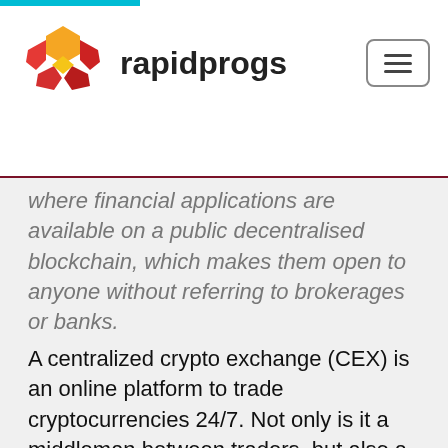rapidprogs
where financial applications are available on a public decentralised blockchain, which makes them open to anyone without referring to brokerages or banks.
A centralized crypto exchange (CEX) is an online platform to trade cryptocurrencies 24/7. Not only is it a middleman between traders, but also a sitting target for hackers and a large-scale authority to watch over every trading operation on the platform.. Such an exchange has full access to your funds (remember: not your keys - not your crypto) and, importantly, stores these funds in the way ...
A yield farm is a DeFi venture where you'd invest (